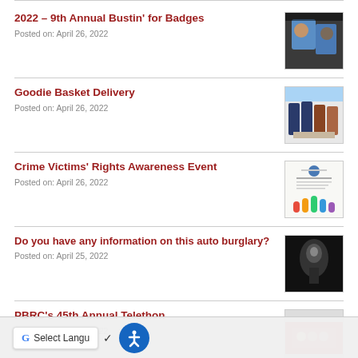2022 – 9th Annual Bustin' for Badges
Posted on: April 26, 2022
[Figure (photo): Photo of two people, one in blue shirt]
Goodie Basket Delivery
Posted on: April 26, 2022
[Figure (photo): Group photo of people at a table]
Crime Victims' Rights Awareness Event
Posted on: April 26, 2022
[Figure (photo): Event flyer for Crime Victims' Rights Awareness Event]
Do you have any information on this auto burglary?
Posted on: April 25, 2022
[Figure (photo): Dark grayscale surveillance image]
PBRC's 45th Annual Telethon
Posted on: April 25, 2022
[Figure (photo): Group photo at telethon event]